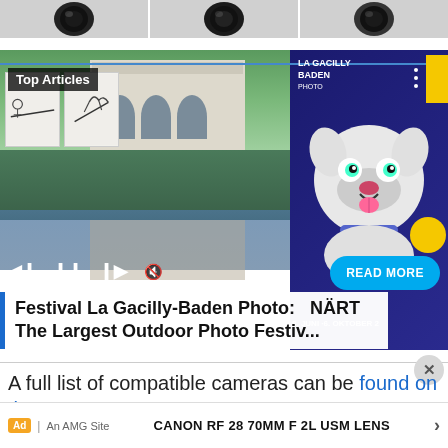[Figure (photo): Three camera lenses shown in a horizontal strip at the top of the page]
[Figure (photo): Article card showing Festival La Gacilly-Baden Photo with outdoor photo festival images on the left and a cartoon dog poster on the right. Top Articles badge visible. Media playback controls shown. READ MORE button in cyan. Title overlay reads: Festival La Gacilly-Baden Photo: NÄRT... / The Largest Outdoor Photo Festiv...]
A full list of compatible cameras can be found on the TTArtisan website.
[Figure (other): Advertisement banner: CANON RF 28 70MM F 2L USM LENS with arrow. Ad badge and An AMG Site label.]